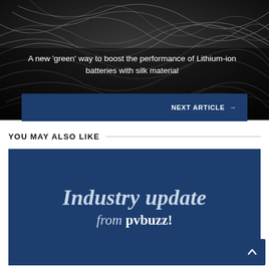[Figure (photo): Black and white microscopic or macro image of fibrous silky material (silk), dark textured background]
A new ‘green’ way to boost the performance of Lithium-ion batteries with silk material
NEXT ARTICLE →
YOU MAY ALSO LIKE
[Figure (illustration): Dark blue card with text reading 'Industry update from pvbuzz!' in large italic serif and bold font, white/light text on navy blue background]